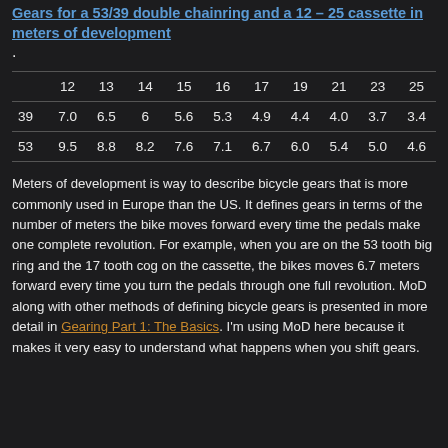Gears for a 53/39 double chainring and a 12 – 25 cassette in meters of development.
|  | 12 | 13 | 14 | 15 | 16 | 17 | 19 | 21 | 23 | 25 |
| --- | --- | --- | --- | --- | --- | --- | --- | --- | --- | --- |
| 39 | 7.0 | 6.5 | 6 | 5.6 | 5.3 | 4.9 | 4.4 | 4.0 | 3.7 | 3.4 |
| 53 | 9.5 | 8.8 | 8.2 | 7.6 | 7.1 | 6.7 | 6.0 | 5.4 | 5.0 | 4.6 |
Meters of development is way to describe bicycle gears that is more commonly used in Europe than the US. It defines gears in terms of the number of meters the bike moves forward every time the pedals make one complete revolution. For example, when you are on the 53 tooth big ring and the 17 tooth cog on the cassette, the bikes moves 6.7 meters forward every time you turn the pedals through one full revolution. MoD along with other methods of defining bicycle gears is presented in more detail in Gearing Part 1: The Basics. I'm using MoD here because it makes it very easy to understand what happens when you shift gears.